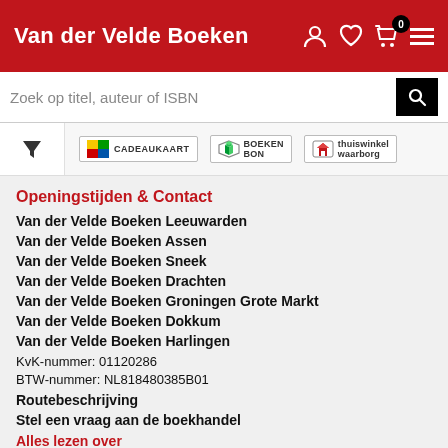Van der Velde Boeken
[Figure (screenshot): Search bar with placeholder text 'Zoek op titel, auteur of ISBN' and a black search button]
[Figure (infographic): Payment method logos: Cadeaukaart, Boekenbon, Thuiswinkel Waarborg]
Openingstijden & Contact
Van der Velde Boeken Leeuwarden
Van der Velde Boeken Assen
Van der Velde Boeken Sneek
Van der Velde Boeken Drachten
Van der Velde Boeken Groningen Grote Markt
Van der Velde Boeken Dokkum
Van der Velde Boeken Harlingen
KvK-nummer: 01120286
BTW-nummer: NL818480385B01
Routebeschrijving
Stel een vraag aan de boekhandel
Alles lezen over
Bestellen en betalen